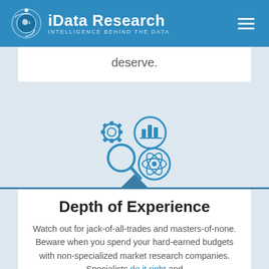iData Research — INTELLIGENCE BEHIND THE DATA
deserve.
[Figure (illustration): iData Research icons: gear, bar chart, magnifying glass, atom/science symbol arranged in a cluster]
Depth of Experience
Watch out for jack-of-all-trades and masters-of-none. Beware when you spend your hard-earned budgets with non-specialized market research companies. Specialists do it right and